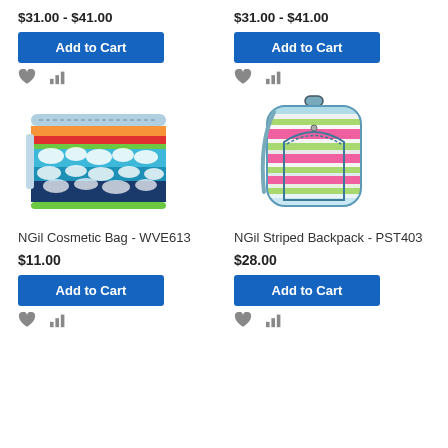$31.00 - $41.00
$31.00 - $41.00
Add to Cart
Add to Cart
[Figure (photo): NGil Cosmetic Bag with colorful tie-dye wave pattern in blue, red, orange, and white]
[Figure (photo): NGil Striped Backpack with multicolor horizontal stripes in pink, green, blue, and white]
NGil Cosmetic Bag - WVE613
NGil Striped Backpack - PST403
$11.00
$28.00
Add to Cart
Add to Cart